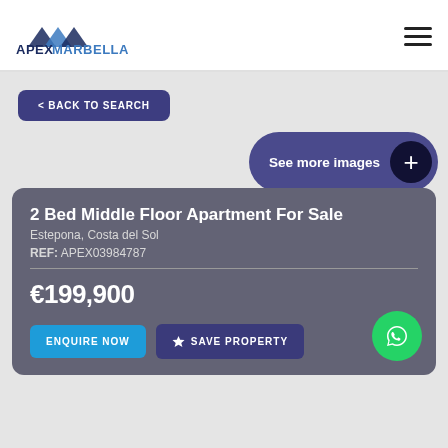[Figure (logo): Apex Marbella Property logo with triangular mountain graphic]
2 Bed Middle Floor Apartment For Sale
Estepona, Costa del Sol
REF: APEX03984787
€199,900
Interested in this property?